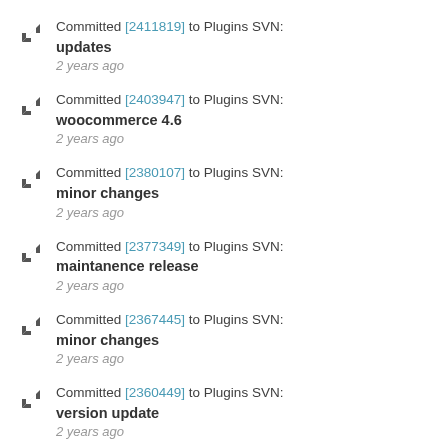Committed [2411819] to Plugins SVN: updates
2 years ago
Committed [2403947] to Plugins SVN: woocommerce 4.6
2 years ago
Committed [2380107] to Plugins SVN: minor changes
2 years ago
Committed [2377349] to Plugins SVN: maintanence release
2 years ago
Committed [2367445] to Plugins SVN: minor changes
2 years ago
Committed [2360449] to Plugins SVN: version update
2 years ago